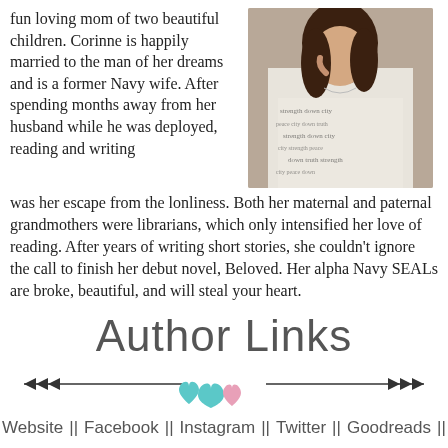fun loving mom of two beautiful children. Corinne is happily married to the man of her dreams and is a former Navy wife. After spending months away from her husband while he was deployed, reading and writing was her escape from the lonliness. Both her maternal and paternal grandmothers were librarians, which only intensified her love of reading. After years of writing short stories, she couldn't ignore the call to finish her debut novel, Beloved. Her alpha Navy SEALs are broke, beautiful, and will steal your heart.
[Figure (photo): Portrait photo of a woman with dark hair wearing a white shirt with black text pattern, holding her hand near her face]
[Figure (illustration): Author Links decorative header with arrows and teal/pink hearts divider]
Website || Facebook || Instagram || Twitter || Goodreads ||